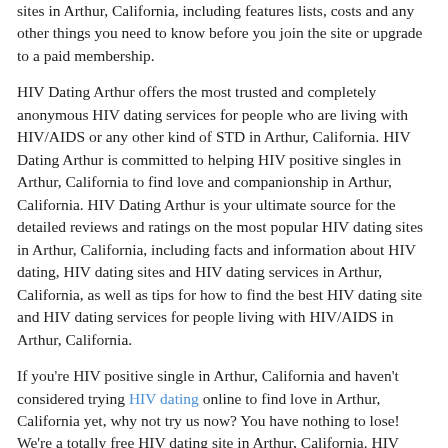sites in Arthur, California, including features lists, costs and any other things you need to know before you join the site or upgrade to a paid membership.
HIV Dating Arthur offers the most trusted and completely anonymous HIV dating services for people who are living with HIV/AIDS or any other kind of STD in Arthur, California. HIV Dating Arthur is committed to helping HIV positive singles in Arthur, California to find love and companionship in Arthur, California. HIV Dating Arthur is your ultimate source for the detailed reviews and ratings on the most popular HIV dating sites in Arthur, California, including facts and information about HIV dating, HIV dating sites and HIV dating services in Arthur, California, as well as tips for how to find the best HIV dating site and HIV dating services for people living with HIV/AIDS in Arthur, California.
If you're HIV positive single in Arthur, California and haven't considered trying HIV dating online to find love in Arthur, California yet, why not try us now? You have nothing to lose! We're a totally free HIV dating site in Arthur, California. HIV Dating Arthur is 100% free for everything, no gimmicks, no scams, no subscriptions, no need to upload your contacts to get contacts, and nothing to buy, etc.
HIV Dating Arthur is the best online community